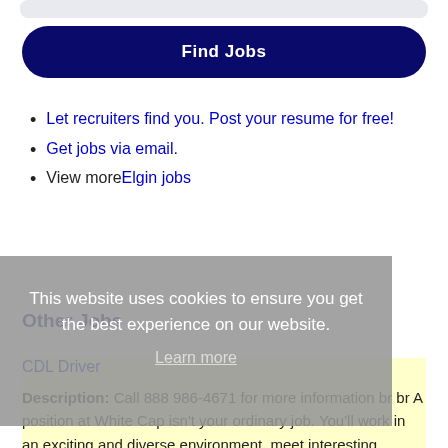[Figure (other): Top bar input field (partially visible, rounded, light gray background)]
Find Jobs
Let recruiters find you. Post your resume for free!
Get jobs via email.
View more Elgin jobs
This website uses cookies to ensure you get the best experience on our website. Learn more
Other Jobs
CDL Driver
Description: Call 888 986-4671 for more information br br A position at White Cap isn't your ordinary job. You'll work in an exciting and diverse environment, meet interesting people, and have a variety of (more...)